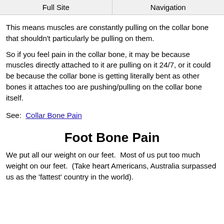Full Site | Navigation
This means muscles are constantly pulling on the collar bone that shouldn't particularly be pulling on them.
So if you feel pain in the collar bone, it may be because muscles directly attached to it are pulling on it 24/7, or it could be because the collar bone is getting literally bent as other bones it attaches too are pushing/pulling on the collar bone itself.
See:  Collar Bone Pain
Foot Bone Pain
We put all our weight on our feet.  Most of us put too much weight on our feet.  (Take heart Americans, Australia surpassed us as the 'fattest' country in the world).